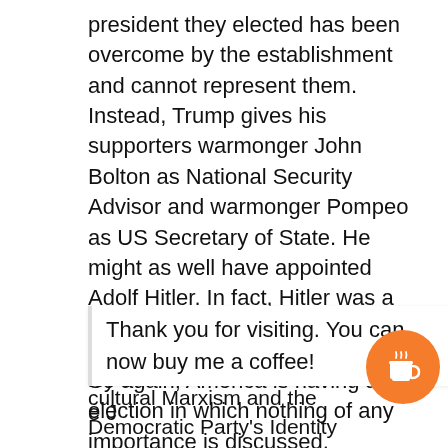president they elected has been overcome by the establishment and cannot represent them. Instead, Trump gives his supporters warmonger John Bolton as National Security Advisor and warmonger Pompeo as US Secretary of State. He might as well have appointed Adolf Hitler. In fact, Hitler was a more reasonable person.
So again, America is having an election in which nothing of any importance is discussed.
Unless the American people rise up in armed rebellion, they are finished as a free people, and, of
Thank you for visiting. You can now buy me a coffee!
cultural Marxism and the Democratic Party's Identity